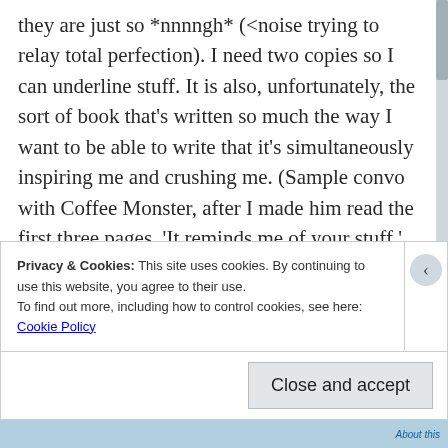they are just so *nnnngh* (<noise trying to relay total perfection). I need two copies so I can underline stuff. It is also, unfortunately, the sort of book that's written so much the way I want to be able to write that it's simultaneously inspiring me and crushing me. (Sample convo with Coffee Monster, after I made him read the first three pages. 'It reminds me of your stuff.' 'It's exactly how I want to write.' 'It's like how you write, but distilled, like the between parts are gone that aren't like that.' 'You mean edited?' 'No. Yes? Wait...' 'But I DO edit my stuff!' 'Um.' *sulk*)
Privacy & Cookies: This site uses cookies. By continuing to use this website, you agree to their use.
To find out more, including how to control cookies, see here: Cookie Policy
Close and accept